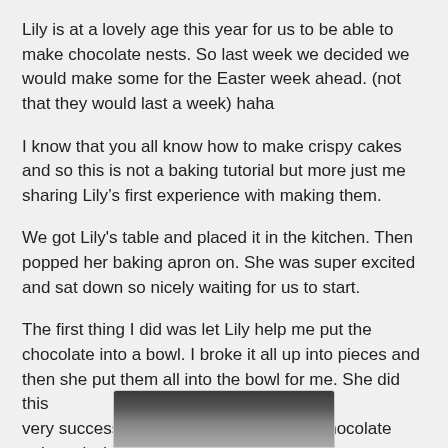Lily is at a lovely age this year for us to be able to make chocolate nests. So last week we decided we would make some for the Easter week ahead. (not that they would last a week) haha
I know that you all know how to make crispy cakes and so this is not a baking tutorial but more just me sharing Lily’s first experience with making them.
We got Lily's table and placed it in the kitchen. Then popped her baking apron on. She was super excited and sat down so nicely waiting for us to start.
The first thing I did was let Lily help me put the chocolate into a bowl. I broke it all up into pieces and then she put them all into the bowl for me. She did this very successfully without any pieces of chocolate going missing.
[Figure (photo): Partial photo strip visible at the bottom of the page, showing the top edge of a photograph.]